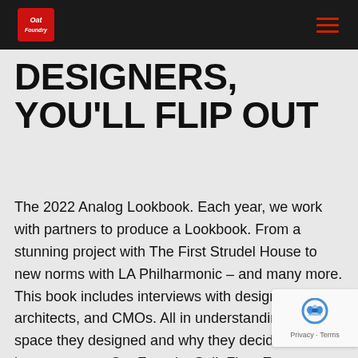Oat Foundry logo and navigation menu
DESIGNERS, YOU'LL FLIP OUT
The 2022 Analog Lookbook. Each year, we work with partners to produce a Lookbook. From a stunning project with The First Strudel House to new norms with LA Philharmonic – and many more. This book includes interviews with designers, architects, and CMOs. All in understanding the space they designed and why they decided to incorporate an Oat Foundry Split Flap. Enter your email below to view the book. (we can also mail you a copy – it makes a great coffee table book)
[Figure (logo): reCAPTCHA badge with Privacy and Terms links]